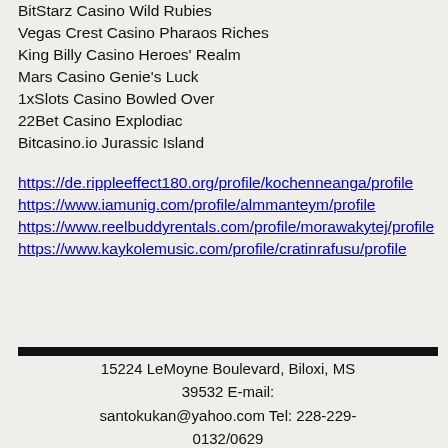BitStarz Casino Wild Rubies
Vegas Crest Casino Pharaos Riches
King Billy Casino Heroes' Realm
Mars Casino Genie's Luck
1xSlots Casino Bowled Over
22Bet Casino Explodiac
Bitcasino.io Jurassic Island
https://de.rippleeffect180.org/profile/kochenneanga/profile https://www.iamunig.com/profile/almmanteym/profile https://www.reelbuddyrentals.com/profile/morawakytej/profile https://www.kaykolemusic.com/profile/cratinrafusu/profile
15224 LeMoyne Boulevard, Biloxi, MS 39532 E-mail: santokukan@yahoo.com Tel: 228-229-0132/0629